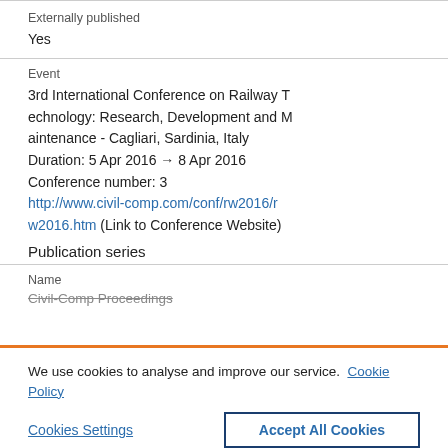Externally published
Yes
Event
3rd International Conference on Railway Technology: Research, Development and Maintenance - Cagliari, Sardinia, Italy
Duration: 5 Apr 2016 → 8 Apr 2016
Conference number: 3
http://www.civil-comp.com/conf/rw2016/rw2016.htm (Link to Conference Website)
Publication series
Name
Civil-Comp Proceedings
We use cookies to analyse and improve our service. Cookie Policy
Cookies Settings
Accept All Cookies